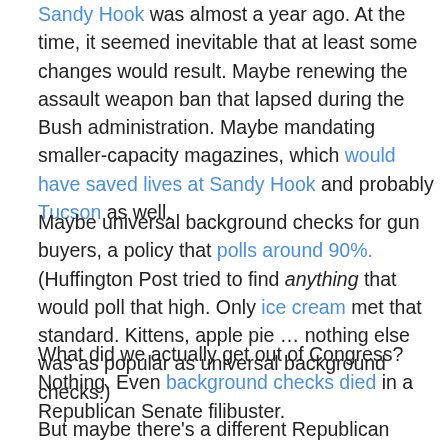Sandy Hook was almost a year ago. At the time, it seemed inevitable that at least some changes would result. Maybe renewing the assault weapon ban that lapsed during the Bush administration. Maybe mandating smaller-capacity magazines, which would have saved lives at Sandy Hook and probably Tucson as well.
Maybe universal background checks for gun buyers, a policy that polls around 90%. (Huffington Post tried to find anything that would poll that high. Only ice cream met that standard. Kittens, apple pie … nothing else was as popular as universal background checks.)
What did we actually get out of Congress? Nothing. Even background checks died in a Republican Senate filibuster.
But maybe there's a different Republican approach to limiting gun violence, one that ignores the gun-control